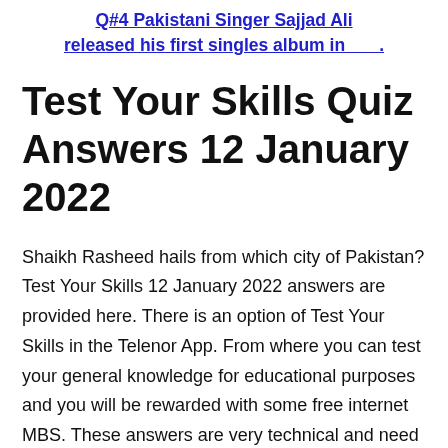Q#4 Pakistani Singer Sajjad Ali released his first singles album in ___.
Test Your Skills Quiz Answers 12 January 2022
Shaikh Rasheed hails from which city of Pakistan? Test Your Skills 12 January 2022 answers are provided here. There is an option of Test Your Skills in the Telenor App. From where you can test your general knowledge for educational purposes and you will be rewarded with some free internet MBS. These answers are very technical and need a high level of general knowledge. So, if you want to get all of the correct answers for Test Your Skills then you